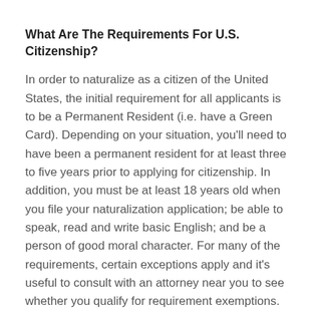What Are The Requirements For U.S. Citizenship?
In order to naturalize as a citizen of the United States, the initial requirement for all applicants is to be a Permanent Resident (i.e. have a Green Card). Depending on your situation, you'll need to have been a permanent resident for at least three to five years prior to applying for citizenship. In addition, you must be at least 18 years old when you file your naturalization application; be able to speak, read and write basic English; and be a person of good moral character. For many of the requirements, certain exceptions apply and it's useful to consult with an attorney near you to see whether you qualify for requirement exemptions.
How to get a Green Card?